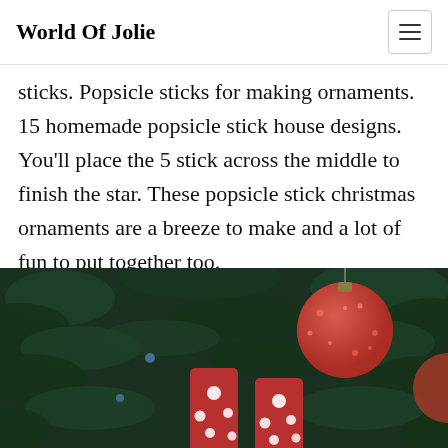World Of Jolie
sticks. Popsicle sticks for making ornaments. 15 homemade popsicle stick house designs. You'll place the 5 stick across the middle to finish the star. These popsicle stick christmas ornaments are a breeze to make and a lot of fun to put together too.
[Figure (photo): Photo of a Christmas tree with red glittery ornament ball and two red popsicle sticks decorated with white polka dots, hanging on green pine branches.]